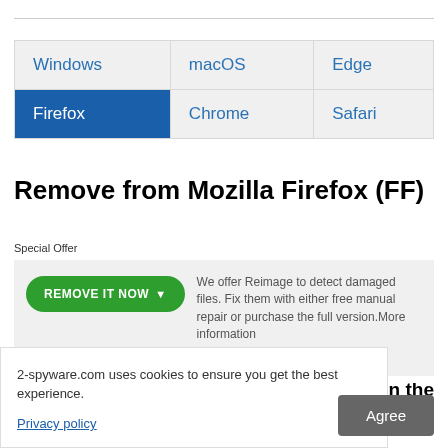| Windows | macOS | Edge |
| --- | --- | --- |
| Firefox | Chrome | Safari |
Remove from Mozilla Firefox (FF)
Special Offer
We offer Reimage to detect damaged files. Fix them with either free manual repair or purchase the full version.More information about Reimage. Uninstall. Terms and Privacy.
2-spyware.com uses cookies to ensure you get the best experience.
Privacy policy
om on the it a fresh start